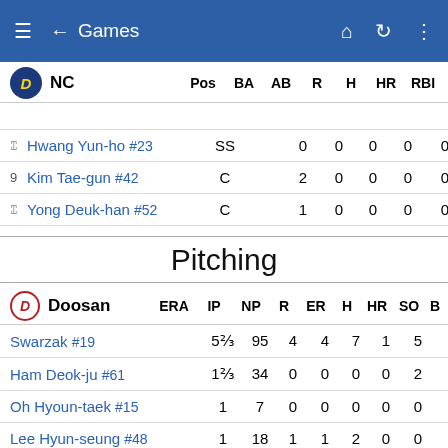Games
| NC | Pos | BA | AB | R | H | HR | RBI | BB | S |
| --- | --- | --- | --- | --- | --- | --- | --- | --- | --- |
| 4 Hwang Yun-ho #23 | SS |  | 0 | 0 | 0 | 0 | 0 | 0 |  |
| 9 Kim Tae-gun #42 | C |  | 2 | 0 | 0 | 0 | 0 | 0 |  |
| 4 Yong Deuk-han #52 | C |  | 1 | 0 | 0 | 0 | 0 | 0 |  |
Pitching
| Doosan | ERA | IP | NP | R | ER | H | HR | SO | B |
| --- | --- | --- | --- | --- | --- | --- | --- | --- | --- |
| Swarzak #19 |  | 5 ⅔ | 95 | 4 | 4 | 7 | 1 | 5 |  |
| Ham Deok-ju #61 |  | 1 ⅔ | 34 | 0 | 0 | 0 | 0 | 2 |  |
| Oh Hyoun-taek #15 |  | 1 | 7 | 0 | 0 | 0 | 0 | 0 |  |
| Lee Hyun-seung #48 |  | 1 | 18 | 1 | 1 | 2 | 0 | 0 |  |